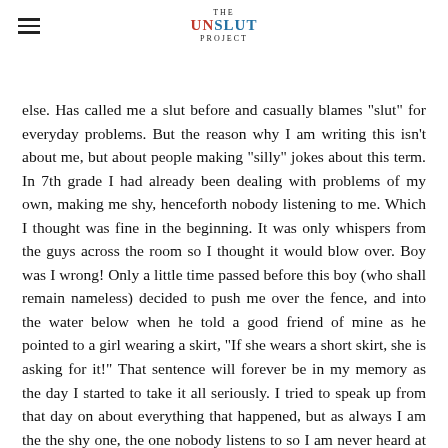THE UNSLUT PROJECT
else. Has called me a slut before and casually blames "slut" for everyday problems. But the reason why I am writing this isn't about me, but about people making "silly" jokes about this term. In 7th grade I had already been dealing with problems of my own, making me shy, henceforth nobody listening to me. Which I thought was fine in the beginning. It was only whispers from the guys across the room so I thought it would blow over. Boy was I wrong! Only a little time passed before this boy (who shall remain nameless) decided to push me over the fence, and into the water below when he told a good friend of mine as he pointed to a girl wearing a skirt, "If she wears a short skirt, she is asking for it!" That sentence will forever be in my memory as the day I started to take it all seriously. I tried to speak up from that day on about everything that happened, but as always I am the the shy one, the one nobody listens to so I am never heard at all. There was one thing I could have done and I suggest to anyone reading this, tell an adult and make sure they are aware of everything going on. Once I told my teacher the kids who made the jokes got in trouble and I was